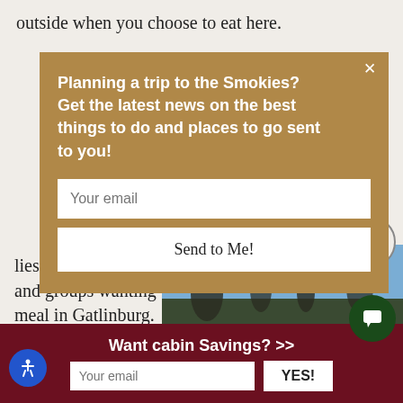outside when you choose to eat here.
[Figure (screenshot): Email signup modal overlay with tan/brown background. Title: 'Planning a trip to the Smokies? Get the latest news on the best things to do and places to go sent to you!' with an email input field and 'Send to Me!' button. A close X button appears top right.]
...ery, this ...the best food ...esh seafood, ...y chicken, ...sserts, we can ...ngry.
...lies, couples, and groups wanting to share a memorable meal in Gatlinburg.
Click here for more details about Crystelle Creek Restaurant & Grill.
[Figure (photo): Partial photo showing sky and dark silhouettes at the bottom, likely outdoor scenery in Gatlinburg.]
Want cabin Savings? >>
Your email  YES!